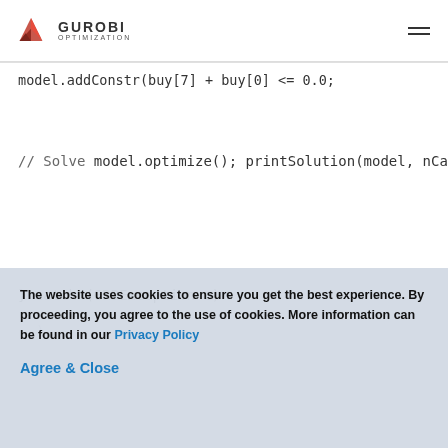[Figure (logo): Gurobi Optimization logo with red 3D diamond shape and text GUROBI OPTIMIZATION]
model.addConstr(buy[7] + buy[0] <= 0.0;
// Solve
model.optimize();
printSolution(model, nCategories, nFoods,
}
catch (GRBException e)
The website uses cookies to ensure you get the best experience. By proceeding, you agree to the use of cookies. More information can be found in our Privacy Policy
Agree & Close